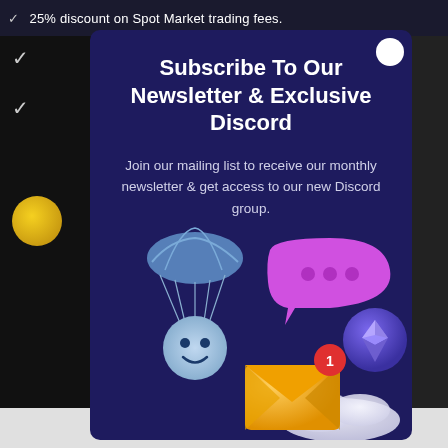✓ 25% discount on Spot Market trading fees.
Subscribe To Our Newsletter & Exclusive Discord
Join our mailing list to receive our monthly newsletter & get access to our new Discord group.
[Figure (illustration): 3D illustration showing a parachute with a ghost/smiley face character, a pink speech bubble with three dots, a purple coin with Ethereum logo, and a yellow envelope with a red notification badge showing '1', with cloud elements]
Ad